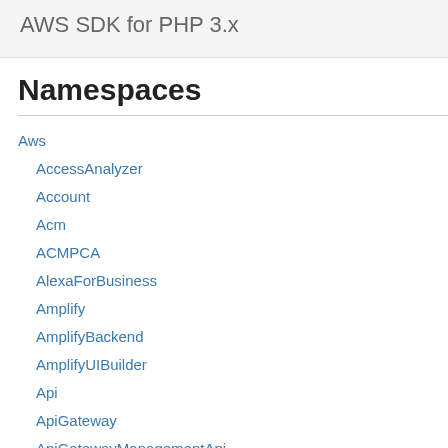AWS SDK for PHP 3.x
Namespaces
Aws
AccessAnalyzer
Account
Acm
ACMPCA
AlexaForBusiness
Amplify
AmplifyBackend
AmplifyUIBuilder
Api
ApiGateway
ApiGatewayManagementApi
Required: Yes
Type: string
The ARN of the ass format.
arn:${Partition}
assetId
Required: Yes
Type: string
The ID of the asset. the asset within IoT...